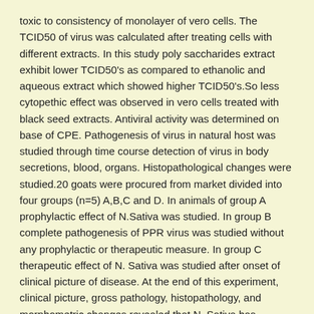toxic to consistency of monolayer of vero cells. The TCID50 of virus was calculated after treating cells with different extracts. In this study poly saccharides extract exhibit lower TCID50's as compared to ethanolic and aqueous extract which showed higher TCID50's.So less cytopethic effect was observed in vero cells treated with black seed extracts. Antiviral activity was determined on base of CPE. Pathogenesis of virus in natural host was studied through time course detection of virus in body secretions, blood, organs. Histopathological changes were studied.20 goats were procured from market divided into four groups (n=5) A,B,C and D. In animals of group A prophylactic effect of N.Sativa was studied. In group B complete pathogenesis of PPR virus was studied without any prophylactic or therapeutic measure. In group C therapeutic effect of N. Sativa was studied after onset of clinical picture of disease. At the end of this experiment, clinical picture, gross pathology, histopathology, and morphometric changes revealed that N. Sativa has noticeable prophylactic effect on PPR infected goats. It can be used as a therapeutic agent in PPR infected goats but it can't control pathological effect of virus after onset of infection. SUMMARY 130 Data collected were statistically analyzed by using Microsoft Excel (Microsoft Excel, 2007) and SPSS (for Windows, Version 16.0). The data were put the descriptive analysis and Chi square test was employed to test the significance and test of hypotheses It was concluded that Black Seed therapy possessed marvelous prophylective effect against PPR virus and RT-PCR was the most efficient